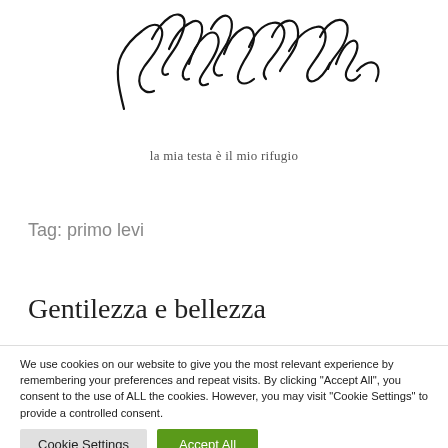[Figure (illustration): Handwritten cursive signature reading 'Massimiliano Citta' in black ink on white background]
la mia testa è il mio rifugio
Tag: primo levi
Gentilezza e bellezza
We use cookies on our website to give you the most relevant experience by remembering your preferences and repeat visits. By clicking "Accept All", you consent to the use of ALL the cookies. However, you may visit "Cookie Settings" to provide a controlled consent.